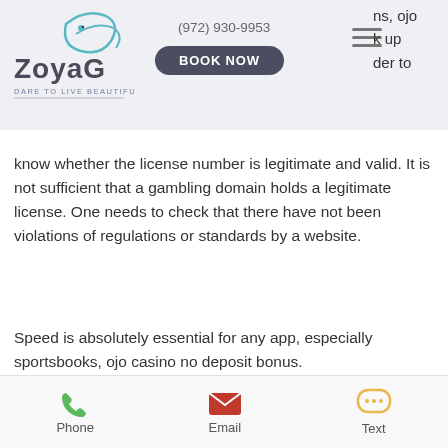ZoyaG — Dare to Live Beautifully | (972) 930-9953 | BOOK NOW
ns, ojo k up der to know whether the license number is legitimate and valid. It is not sufficient that a gambling domain holds a legitimate license. One needs to check that there have not been violations of regulations or standards by a website.
Speed is absolutely essential for any app, especially sportsbooks, ojo casino no deposit bonus.
One of the most common reason for players to move to new slot sites is the possibility to claim new welcome bonus. However, there are also other reason why you would like to try out something new, ojo casino no deposit bonus. New Slot Games releases is quite common a reason to try new site.
Phone | Email | Text